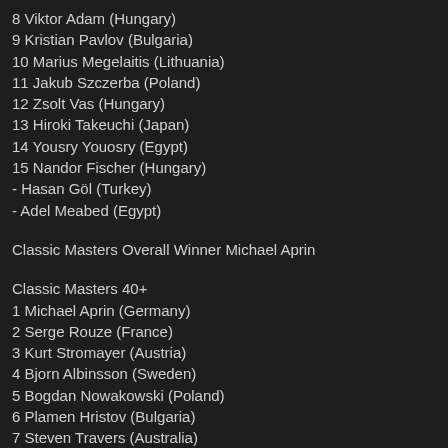8 Viktor Adam (Hungary)
9 Kristian Pavlov (Bulgaria)
10 Marius Megelaitis (Lithuania)
11 Jakub Szczerba (Poland)
12 Zsolt Vas (Hungary)
13 Hiroki Takeuchi (Japan)
14 Yousry Youosry (Egypt)
15 Nandor Fischer (Hungary)
- Hasan Göl (Turkey)
- Adel Meabed (Egypt)
Classic Masters Overall Winner Michael Aprin
Classic Masters 40+
1 Michael Aprin (Germany)
2 Serge Rouze (France)
3 Kurt Stromayer (Austria)
4 Bjorn Albinsson (Sweden)
5 Bogdan Nowakowski (Poland)
6 Plamen Hristov (Bulgaria)
7 Steven Travers (Australia)
8 Niko Golsek (El Salvador)
9 John Large (Norway)
10 Artur Sliczny (Poland)
11 Eddi Badoer (Italy)